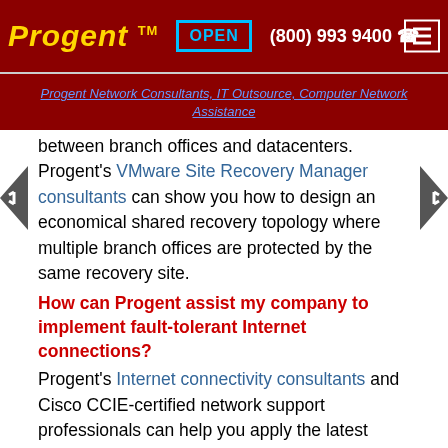Progent™  OPEN  (800) 993 9400  ☎  ☰
Progent Network Consultants, IT Outsource, Computer Network Assistance
between branch offices and datacenters. Progent's VMware Site Recovery Manager consultants can show you how to design an economical shared recovery topology where multiple branch offices are protected by the same recovery site.
How can Progent assist my company to implement fault-tolerant Internet connections?
Progent's Internet connectivity consultants and Cisco CCIE-certified network support professionals can help you apply the latest connectivity technology to implement affordable failover Internet connections. Progent can clarify the trade-offs concerning reliability, performance, and affordability to help you choose the most efficient solution for